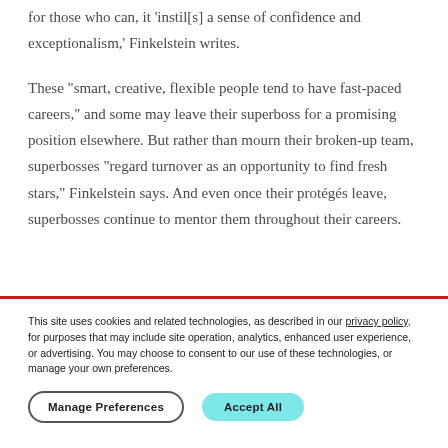for those who can, it 'instil[s] a sense of confidence and exceptionalism,' Finkelstein writes.
These "smart, creative, flexible people tend to have fast-paced careers," and some may leave their superboss for a promising position elsewhere. But rather than mourn their broken-up team, superbosses "regard turnover as an opportunity to find fresh stars," Finkelstein says. And even once their protégés leave, superbosses continue to mentor them throughout their careers.
This site uses cookies and related technologies, as described in our privacy policy, for purposes that may include site operation, analytics, enhanced user experience, or advertising. You may choose to consent to our use of these technologies, or manage your own preferences.
Manage Preferences
Accept All